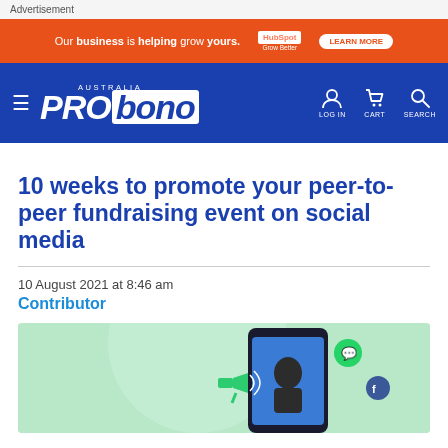Advertisement
[Figure (screenshot): Orange HubSpot advertisement banner with text 'Our business is helping grow yours.' and a CTA button]
[Figure (logo): Pro Bono Australia navigation bar with hamburger menu, logo, LOG IN, CART, and SEARCH icons]
10 weeks to promote your peer-to-peer fundraising event on social media
10 August 2021 at 8:46 am
Contributor
[Figure (illustration): Green-background illustration showing a person holding a megaphone next to a smartphone with social media icons]